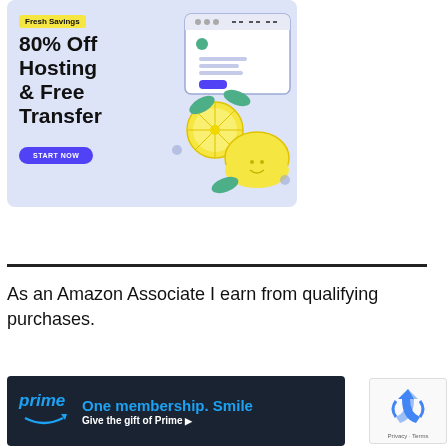[Figure (illustration): Advertisement banner with light blue background showing '80% Off Hosting & Free Transfer' with lemon illustration and browser window graphic. Has 'Fresh Savings' yellow badge and 'START NOW' blue button.]
As an Amazon Associate I earn from qualifying purchases.
[Figure (illustration): Amazon Prime advertisement banner with dark navy background showing 'prime' logo, 'One membership. Smile' headline in blue, and 'Give the gift of Prime' call to action in white.]
[Figure (other): Google reCAPTCHA widget showing recycling arrows logo with Privacy and Terms links.]